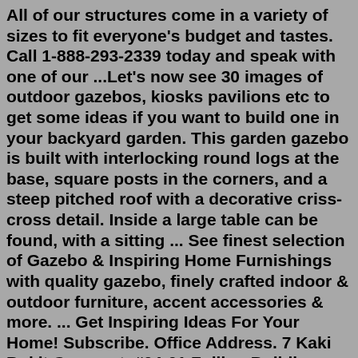All of our structures come in a variety of sizes to fit everyone's budget and tastes. Call 1-888-293-2339 today and speak with one of our ...Let's now see 30 images of outdoor gazebos, kiosks pavilions etc to get some ideas if you want to build one in your backyard garden. This garden gazebo is built with interlocking round logs at the base, square posts in the corners, and a steep pitched roof with a decorative criss-cross detail. Inside a large table can be found, with a sitting ... See finest selection of Gazebo & Inspiring Home Furnishings with quality gazebo, finely crafted indoor & outdoor furniture, accent accessories & more. ... Get Inspiring Ideas For Your Home! Subscribe. Office Address. 7 Kaki Bukit Crescent, #04-01 Fullion Building, Singapore 416239 ...Keep scrolling to get inspired with 100 outdoor design ideas! Create A Walled-in Garden. In her Vancouver ranch-style home, designer Rosie Daykin tends to her lush walled-in garden. ... This Palm Beach home has the added benefit of a covered pavilion, so the addition of an Oushak rug makes this spot feel extra luxe.